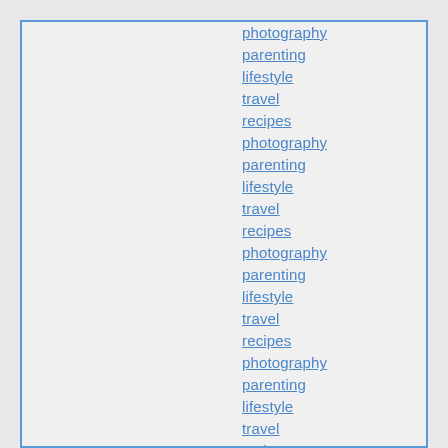photography
parenting
lifestyle
travel
recipes
photography
parenting
lifestyle
travel
recipes
photography
parenting
lifestyle
travel
recipes
photography
parenting
lifestyle
travel
recipes
photography
parenting
lifestyle
travel
recipes
photography
parenting
lifestyle
travel
recipes